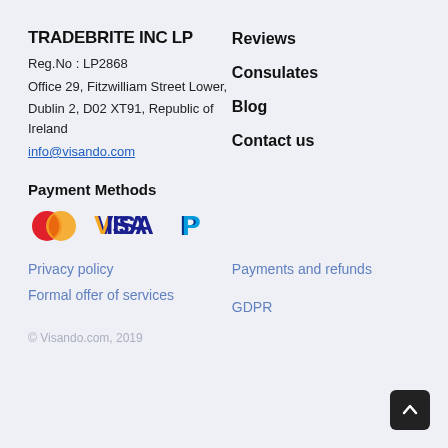TRADEBRITE INC LP
Reg.No: LP2868
Office 29, Fitzwilliam Street Lower,
Dublin 2, D02 XT91, Republic of Ireland
info@visando.com
Reviews
Consulates
Blog
Contact us
Payment Methods
[Figure (logo): Payment method logos: Mastercard, Visa, PayPal]
Privacy policy
Formal offer of services
Payments and refunds
GDPR
© Visando.com, 2019